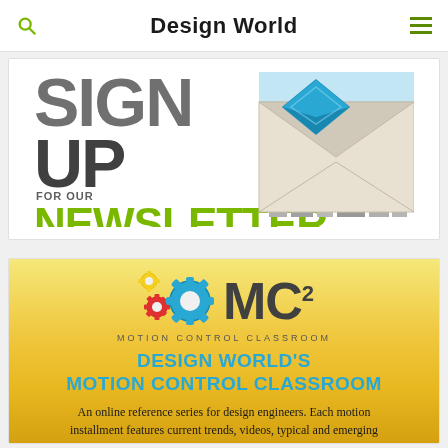Design World
[Figure (infographic): Sign Up For Our Newsletter promotional banner with envelope graphic]
[Figure (infographic): Design World's Motion Control Classroom (MC2) promotional banner with gear icons and yellow/gold gradient background. Text: An online reference series for design engineers. Each motion installment features current trends, videos, typical and emerging applications and FAQs.]